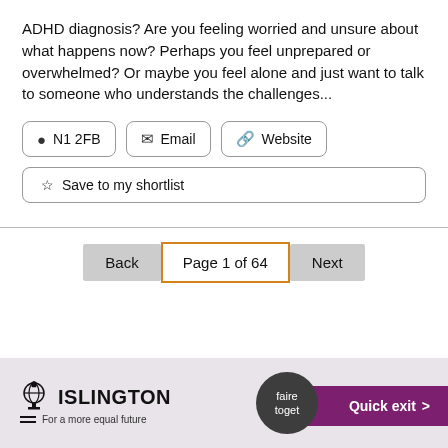ADHD diagnosis? Are you feeling worried and unsure about what happens now? Perhaps you feel unprepared or overwhelmed? Or maybe you feel alone and just want to talk to someone who understands the challenges...
N1 2FB  Email  Website
Save to my shortlist
Back  Page 1 of 64  Next
ISLINGTON For a more equal future  faire toget  Quick exit >